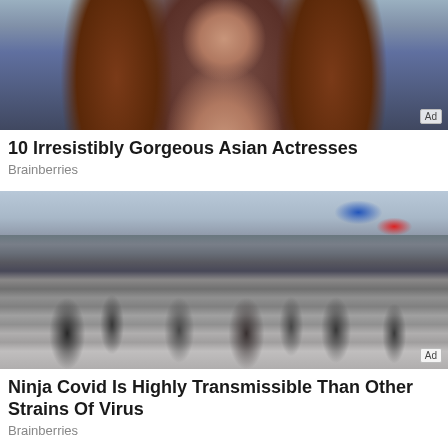[Figure (photo): Cropped photo of a woman with long auburn/dark red hair wearing a black choker necklace and black top, photographed against a blurred background. Ad badge visible in bottom right.]
10 Irresistibly Gorgeous Asian Actresses
Brainberries
[Figure (photo): Photo of a large crowd of people crossing a busy intersection in what appears to be Shibuya, Tokyo, Japan. People are wearing face masks. City buildings with neon signs and advertisements visible in the background. Ad badge visible in bottom right.]
Ninja Covid Is Highly Transmissible Than Other Strains Of Virus
Brainberries